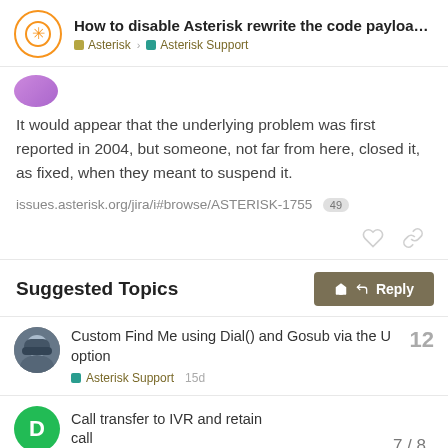How to disable Asterisk rewrite the code payloa... | Asterisk | Asterisk Support
It would appear that the underlying problem was first reported in 2004, but someone, not far from here, closed it, as fixed, when they meant to suspend it.
issues.asterisk.org/jira/i#browse/ASTERISK-1755 49
Suggested Topics
Custom Find Me using Dial() and Gosub via the U option
Asterisk Support 15d
Call transfer to IVR and retain call
7 / 8